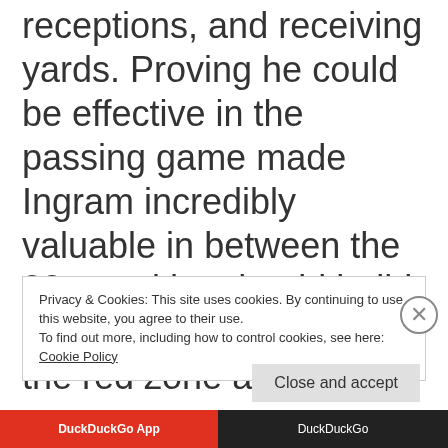receptions, and receiving yards. Proving he could be effective in the passing game made Ingram incredibly valuable in between the 20s, and he should build on that momentum within the red zone as well.
Privacy & Cookies: This site uses cookies. By continuing to use this website, you agree to their use. To find out more, including how to control cookies, see here: Cookie Policy
Close and accept